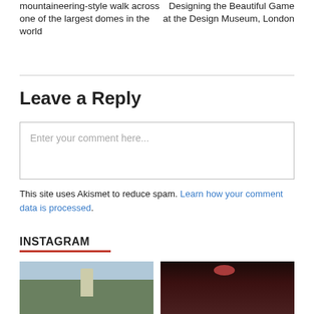mountaineering-style walk across one of the largest domes in the world
Designing the Beautiful Game at the Design Museum, London
Leave a Reply
Enter your comment here...
This site uses Akismet to reduce spam. Learn how your comment data is processed.
INSTAGRAM
[Figure (photo): Outdoor photo showing trees and a building with a spire against a cloudy sky]
[Figure (photo): Indoor photo showing a person in a dimly lit room with red lighting and pendant lamp]